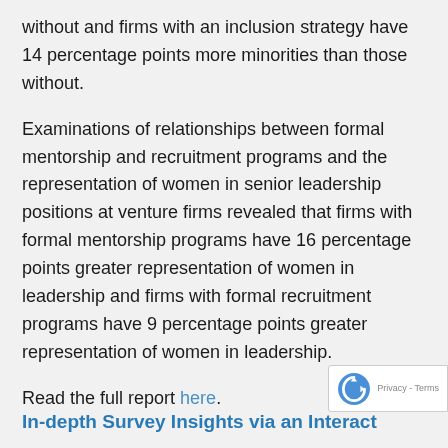without and firms with an inclusion strategy have 14 percentage points more minorities than those without.
Examinations of relationships between formal mentorship and recruitment programs and the representation of women in senior leadership positions at venture firms revealed that firms with formal mentorship programs have 16 percentage points greater representation of women in leadership and firms with formal recruitment programs have 9 percentage points greater representation of women in leadership.
Read the full report here.
In-depth Survey Insights via an Interact